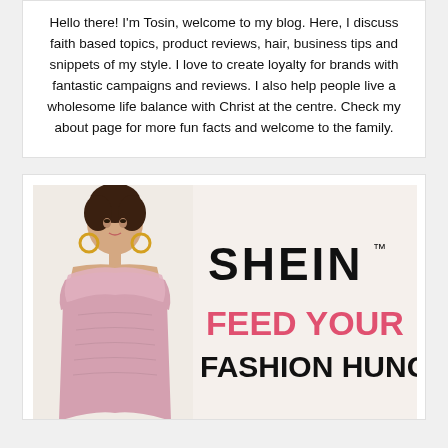Hello there! I'm Tosin, welcome to my blog. Here, I discuss faith based topics, product reviews, hair, business tips and snippets of my style. I love to create loyalty for brands with fantastic campaigns and reviews. I also help people live a wholesome life balance with Christ at the centre. Check my about page for more fun facts and welcome to the family.
[Figure (illustration): SHEIN advertisement banner featuring a woman in a pink off-shoulder ruffled velvet dress with gold hoop earrings, alongside the SHEIN logo and the tagline 'FEED YOUR FASHION HUNGER']